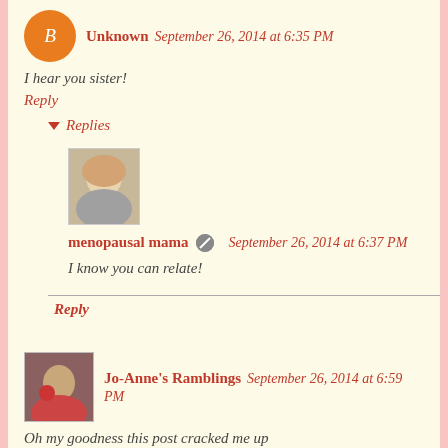[Figure (photo): Orange Blogger avatar icon for user Unknown]
Unknown  September 26, 2014 at 6:35 PM
I hear you sister!
Reply
▾ Replies
[Figure (photo): Profile photo of menopausal mama showing a woman with light hair]
menopausal mama  September 26, 2014 at 6:37 PM
I know you can relate!
Reply
[Figure (photo): Profile photo for Jo-Anne's Ramblings showing a colorful avatar]
Jo-Anne's Ramblings  September 26, 2014 at 6:59 PM
Oh my goodness this post cracked me up
Reply
▾ Replies
[Figure (photo): Partial profile photo at bottom of page with date September 26, 2014]